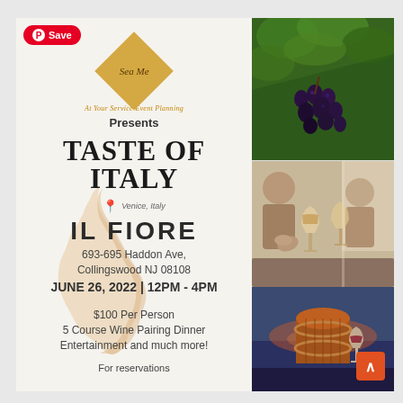[Figure (illustration): Flyer for Taste of Italy event with diamond logo, Italy map watermark, restaurant details, and three photos of grapes, wine tasting, and wine barrel on the right side]
TASTE OF ITALY
Sea Me
At Your Service Event Planning
Presents
Venice, Italy
IL FIORE
693-695 Haddon Ave, Collingswood NJ 08108
JUNE 26, 2022 | 12PM - 4PM
$100 Per Person
5 Course Wine Pairing Dinner
Entertainment and much more!
For reservations